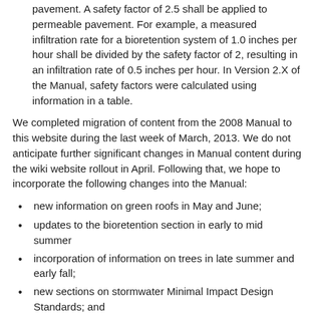pavement. A safety factor of 2.5 shall be applied to permeable pavement. For example, a measured infiltration rate for a bioretention system of 1.0 inches per hour shall be divided by the safety factor of 2, resulting in an infiltration rate of 0.5 inches per hour. In Version 2.X of the Manual, safety factors were calculated using information in a table.
We completed migration of content from the 2008 Manual to this website during the last week of March, 2013. We do not anticipate further significant changes in Manual content during the wiki website rollout in April. Following that, we hope to incorporate the following changes into the Manual:
new information on green roofs in May and June;
updates to the bioretention section in early to mid summer
incorporation of information on trees in late summer and early fall;
new sections on stormwater Minimal Impact Design Standards; and
new information on iron-enhanced filters this summer.
Information: Mediawiki automatically saves all edits